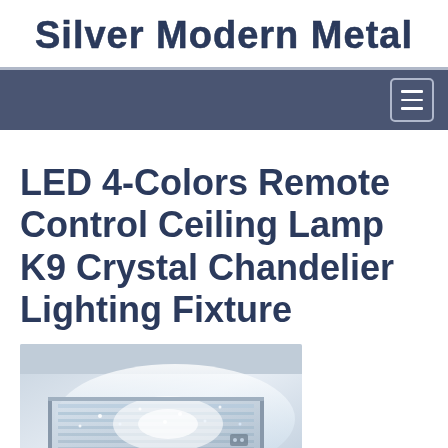Silver Modern Metal
LED 4-Colors Remote Control Ceiling Lamp K9 Crystal Chandelier Lighting Fixture
[Figure (photo): Photo of a rectangular LED crystal chandelier ceiling lamp emitting bright white light, with K9 crystal elements visible along the frame, viewed from below at an angle.]